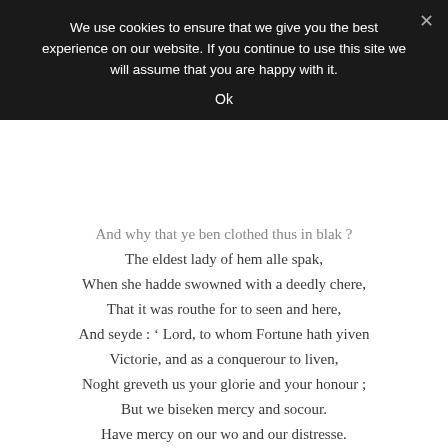We use cookies to ensure that we give you the best experience on our website. If you continue to use this site we will assume that you are happy with it.
Ok
And why that ye ben clothed thus in blak ?
The eldest lady of hem alle spak,
When she hadde swowned with a deedly chere,
That it was routhe for to seen and here,
And seyde : ‘ Lord, to whom Fortune hath yiven
Victorie, and as a conquerour to liven,
Noght greveth us your glorie and your honour ;
But we biseken mercy and socour.
Have mercy on our wo and our distresse.
Som drope of pitee, thurgh thy gentilesse,
Up-on us wrecched wommen lat thou falle,